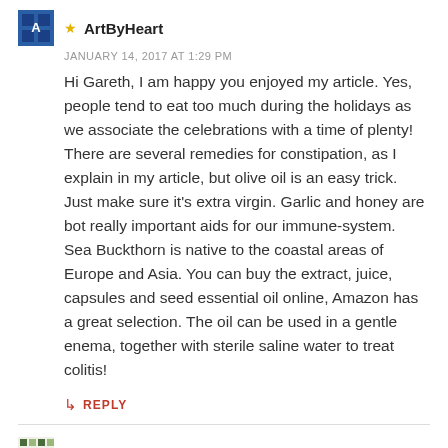★ ArtByHeart
JANUARY 14, 2017 AT 1:29 PM
Hi Gareth, I am happy you enjoyed my article. Yes, people tend to eat too much during the holidays as we associate the celebrations with a time of plenty! There are several remedies for constipation, as I explain in my article, but olive oil is an easy trick. Just make sure it's extra virgin. Garlic and honey are bot really important aids for our immune-system.
Sea Buckthorn is native to the coastal areas of Europe and Asia. You can buy the extract, juice, capsules and seed essential oil online, Amazon has a great selection. The oil can be used in a gentle enema, together with sterile saline water to treat colitis!
↳ REPLY
Ganesh Tahi